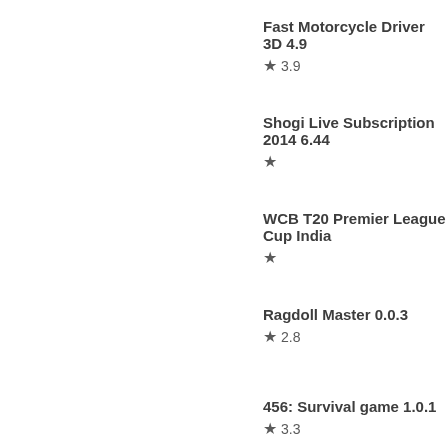Fast Motorcycle Driver 3D 4.9 ★ 3.9
Shogi Live Subscription 2014 6.44 ★
WCB T20 Premier League Cup India ★
Ragdoll Master 0.0.3 ★ 2.8
456: Survival game 1.0.1 ★ 3.3